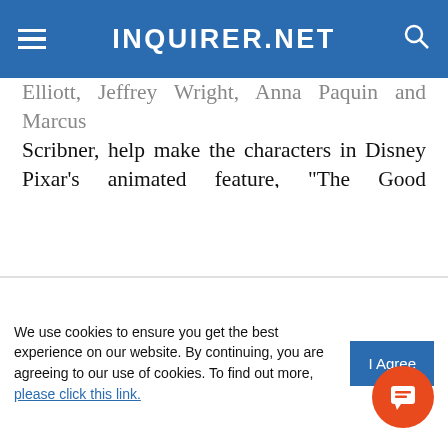INQUIRER.NET
Elliott, Jeffrey Wright, Anna Paquin and Marcus Scribner, help make the characters in Disney Pixar’s animated feature, “The Good Dinosaur,” come to feisty life. The perky and imaginative film takes viewers on an epic journey into the world of dinosaurs, in which an Apatosaurus named Arlo makes an unlikely human friend!
Tippy Dos Santos
ADVERTISEMENT
[Figure (screenshot): Partial advertisement banner showing 'Follow us on' in white bold text on a blue background]
We use cookies to ensure you get the best experience on our website. By continuing, you are agreeing to our use of cookies. To find out more, please click this link.